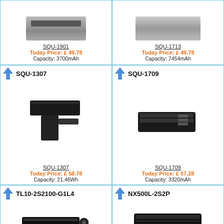[Figure (photo): Laptop battery photo for SQU-1901]
SQU-1901
Today Price: £ 49.78
Capacity: 3700mAh
[Figure (photo): Laptop battery photo for SQU-1713]
SQU-1713
Today Price: £ 49.78
Capacity: 7454mAh
[Figure (photo): Laptop battery photo for SQU-1307, with arrow icon and title]
SQU-1307
Today Price: £ 58.78
Capacity: 21.46Wh
[Figure (photo): Laptop battery photo for SQU-1709, with arrow icon and title]
SQU-1709
Today Price: £ 57.28
Capacity: 3320mAh
[Figure (photo): Laptop battery photo for TL10-2S2100-G1L4, with arrow icon and title]
[Figure (photo): Laptop battery photo for NX500L-2S2P, with arrow icon and title]